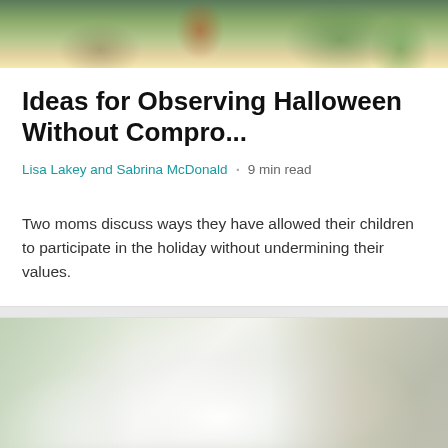[Figure (photo): Children at a Halloween party with pumpkins and decorations, partially cropped at top]
Ideas for Observing Halloween Without Compro...
Lisa Lakey and Sabrina McDonald · 9 min read
Two moms discuss ways they have allowed their children to participate in the holiday without undermining their values.
[Figure (photo): White lily flowers with green leaves laid on a white surface near a window]
[Figure (photo): Partial view of another article image at bottom, mostly white/light]